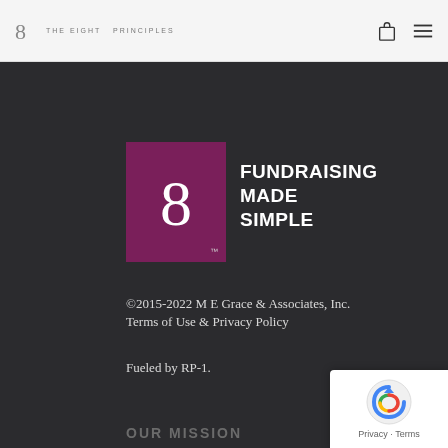THE EIGHT 8 PRINCIPLES
[Figure (logo): Purple square with large white 8 numeral and text FUNDRAISING MADE SIMPLE to the right]
©2015-2022 M E Grace & Associates, Inc.
Terms of Use & Privacy Policy
Fueled by RP-1.
OUR MISSION
Enabling worthy charitable organizations and those who support them to realize their dreams.